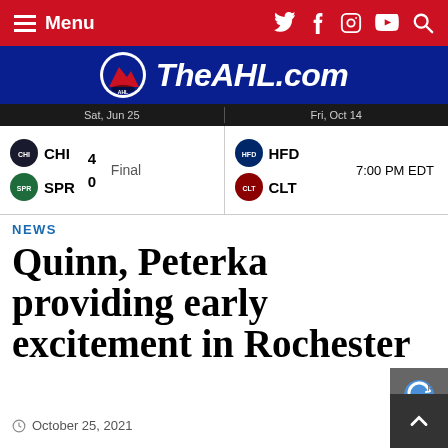Menu | TheAHL.com
[Figure (screenshot): TheAHL.com logo with AHL puck/mountain logo and site name in white italic bold text on dark blue background]
| Date | Team | Score | Status | Date2 | Team2 | Time |
| --- | --- | --- | --- | --- | --- | --- |
| Sat, Jun 25 | CHI | 4 | Final | Fri, Oct 14 | HFD | 7:00 PM EDT |
|  | SPR | 0 |  |  | CLT |  |
NEWS
Quinn, Peterka providing early excitement in Rochester
October 25, 2021